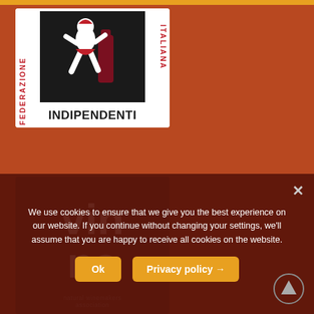[Figure (logo): Federazione Italiana Indipendenti logo — white background with black square, red figure carrying a wine bottle, red text FEDERAZIONE on left and ITALIANA on right, bold black INDIPENDENTI text at bottom]
[Figure (logo): Vinna logo — dark brown/maroon background with large white bold text 'vinna' and smaller text 'natural winemakers association' at bottom]
We use cookies to ensure that we give you the best experience on our website. If you continue without changing your settings, we'll assume that you are happy to receive all cookies on the website.
Ok
Privacy policy →